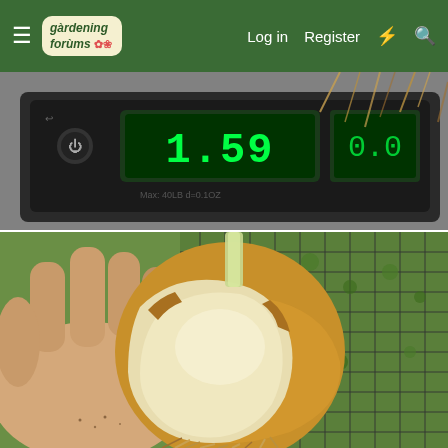gardening forums — Log in  Register
[Figure (photo): Digital kitchen scale displaying 1.59, with onion roots visible in the background on a grey surface. Max 40LB, d=0.1OZ.]
[Figure (photo): A hand holding a large freshly harvested onion with golden-brown papery skin partially peeled back revealing white flesh underneath. Dried roots hang down. Background shows a black wire mesh fence with green foliage.]